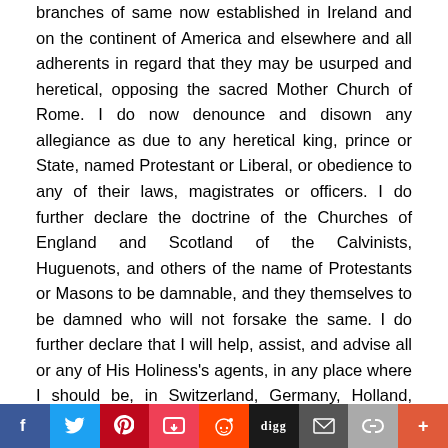branches of same now established in Ireland and on the continent of America and elsewhere and all adherents in regard that they may be usurped and heretical, opposing the sacred Mother Church of Rome. I do now denounce and disown any allegiance as due to any heretical king, prince or State, named Protestant or Liberal, or obedience to any of their laws, magistrates or officers. I do further declare the doctrine of the Churches of England and Scotland of the Calvinists, Huguenots, and others of the name of Protestants or Masons to be damnable, and they themselves to be damned who will not forsake the same. I do further declare that I will help, assist, and advise all or any of His Holiness's agents, in any place where I should be, in Switzerland, Germany, Holland, Ireland or America, or in any other kingdom or territory I shall come to, and do my utmost to extirpate the heretical Protestant or Masonic doctrines and to destroy all their pretended powers, legal or otherwise. I do further promise and declare that
[Figure (other): Social sharing bar with buttons: Facebook, Twitter, Pinterest, Pocket, Reddit, Digg, Email, Share, More]